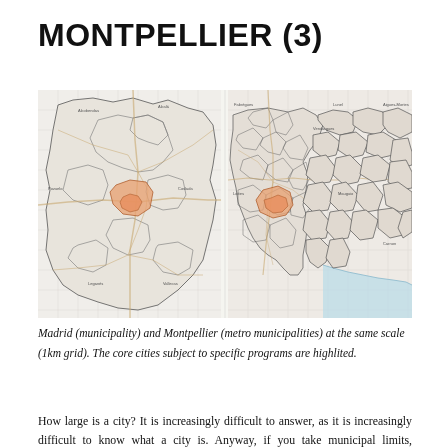MONTPELLIER (3)
[Figure (map): Two side-by-side maps: left shows Madrid municipality boundaries at 1km grid scale with the core city area highlighted in orange/tan; right shows Montpellier metro municipalities at the same scale with its core city highlighted, and the Mediterranean coastline visible in light blue at the bottom right.]
Madrid (municipality) and Montpellier (metro municipalities) at the same scale (1km grid). The core cities subject to specific programs are highlited.
How large is a city? It is increasingly difficult to answer, as it is increasingly difficult to know what a city is. Anyway, if you take municipal limits, Montpellier is a city with a population slightly over